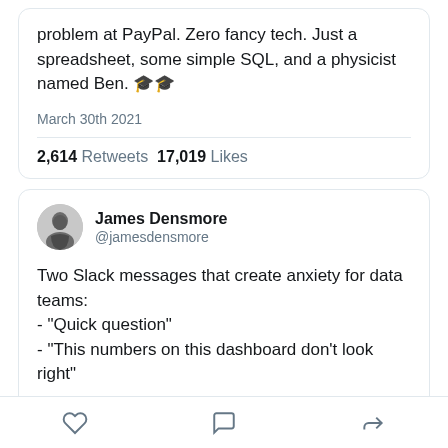problem at PayPal. Zero fancy tech. Just a spreadsheet, some simple SQL, and a physicist named Ben. 🎓🎓
March 30th 2021
2,614 Retweets  17,019 Likes
James Densmore
@jamesdensmore
Two Slack messages that create anxiety for data teams:
- "Quick question"
- "This numbers on this dashboard don't look right"

I've been playing those in my head whenever I'm trying to convince myself to invest more time in data